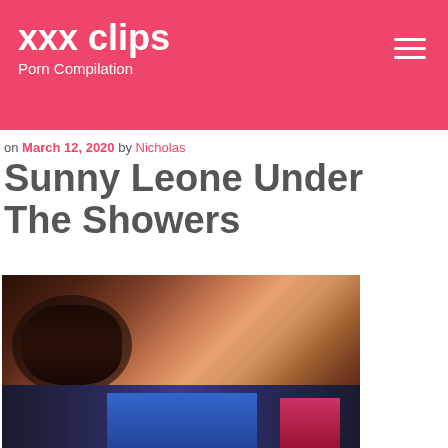xxx clips
Porn Compilation
on March 12, 2020 by Nicholas
Sunny Leone Under The Showers
[Figure (photo): Video thumbnail showing a woman lying back with text overlay 'Watch full video at XXNCLIP.com']
[Figure (photo): Partial video thumbnail with dark blue background and figures]